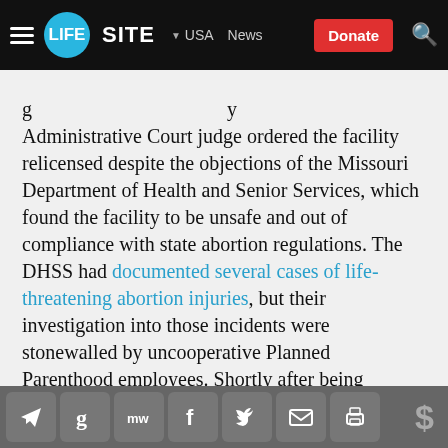LifeSite — USA | News | Donate
Administrative Court judge ordered the facility relicensed despite the objections of the Missouri Department of Health and Senior Services, which found the facility to be unsafe and out of compliance with state abortion regulations. The DHSS had documented several cases of life-threatening abortion injuries, but their investigation into those incidents were stonewalled by uncooperative Planned Parenthood employees. Shortly after being relicensed, the facility voluntarily halted surgical abortions in Missouri. It had earlier voluntarily halted the distribution of abortion-inducing pills due to an unwillingness to comply with Missouri laws
Share bar with social icons